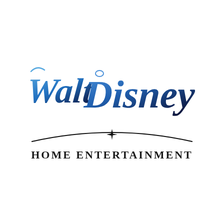[Figure (logo): Walt Disney Home Entertainment logo. 'Walt Disney' in blue cursive/script lettering with gradient from medium blue to dark navy. Below the text is a decorative arc line with a four-pointed star/sparkle in the center. Below the arc the text 'HOME ENTERTAINMENT' in bold black serif capital letters with wide letter-spacing.]